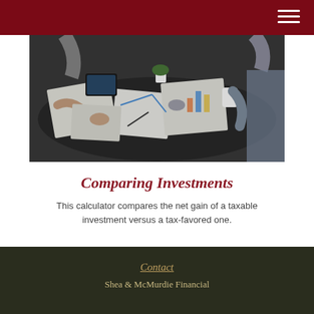[Figure (photo): Overhead view of a business meeting with people reviewing financial charts and documents on a dark table, with tablets, papers, and coffee cups visible.]
Comparing Investments
This calculator compares the net gain of a taxable investment versus a tax-favored one.
Contact
Shea & McMurdie Financial